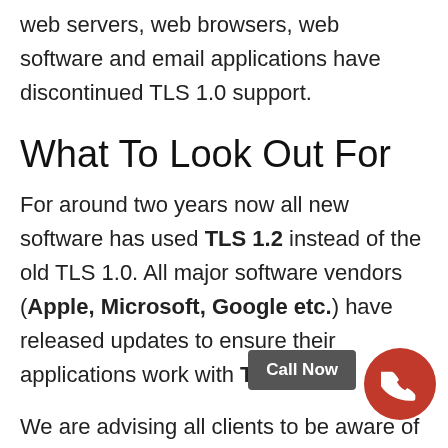web servers, web browsers, web software and email applications have discontinued TLS 1.0 support.
What To Look Out For
For around two years now all new software has used TLS 1.2 instead of the old TLS 1.0. All major software vendors (Apple, Microsoft, Google etc.) have released updates to ensure their applications work with TLS 1.2.
We are advising all clients to be aware of this change as it could affect how your email behaves. Now is the time to ensure all your website software is up to date, especially if you are running an email address...